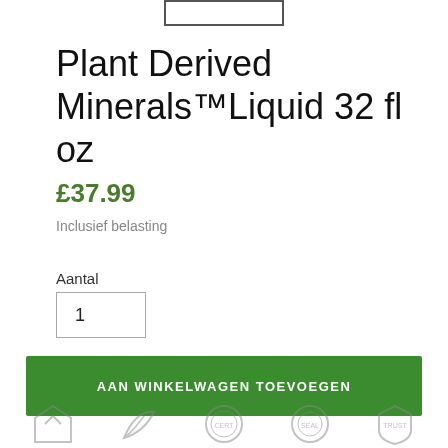[Figure (screenshot): Partial product image placeholder at top, shown as a bordered rectangle]
Plant Derived Minerals™Liquid 32 fl oz
£37.99
Inclusief belasting
Aantal
1
AAN WINKELWAGEN TOEVOEGEN
[Figure (logo): Row of five grey certification/trust badge icons at the bottom of the page]